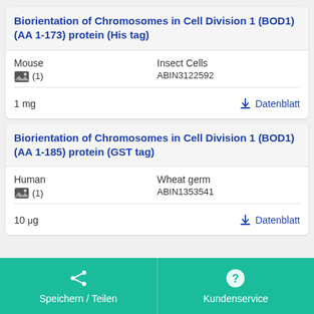Biorientation of Chromosomes in Cell Division 1 (BOD1) (AA 1-173) protein (His tag)
Mouse
(1)
Insect Cells
ABIN3122592
1 mg
Datenblatt
Biorientation of Chromosomes in Cell Division 1 (BOD1) (AA 1-185) protein (GST tag)
Human
(1)
Wheat germ
ABIN1353541
10 μg
Datenblatt
Speichern / Teilen
Kundenservice